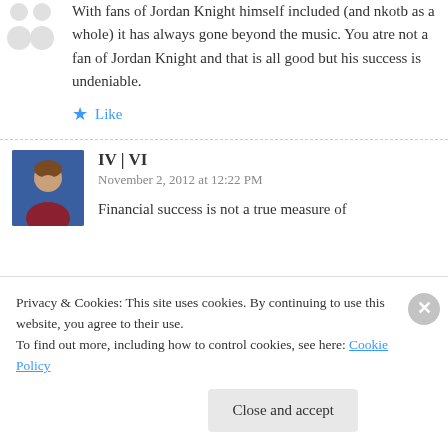With fans of Jordan Knight himself included (and nkotb as a whole) it has always gone beyond the music. You atre not a fan of Jordan Knight and that is all good but his success is undeniable.
Like
IV | VI
November 2, 2012 at 12:22 PM
Financial success is not a true measure of
Privacy & Cookies: This site uses cookies. By continuing to use this website, you agree to their use.
To find out more, including how to control cookies, see here: Cookie Policy
Close and accept